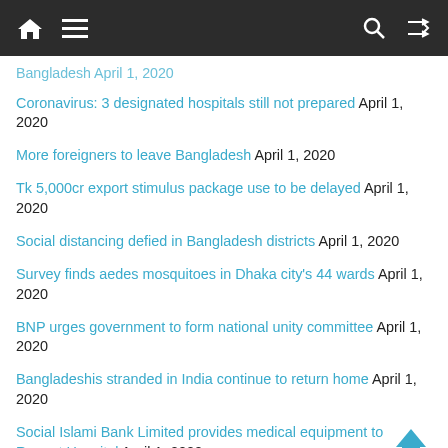Navigation bar with home, menu, search, and shuffle icons
Bangladesh April 1, 2020 (partial, top of page)
Coronavirus: 3 designated hospitals still not prepared April 1, 2020
More foreigners to leave Bangladesh April 1, 2020
Tk 5,000cr export stimulus package use to be delayed April 1, 2020
Social distancing defied in Bangladesh districts April 1, 2020
Survey finds aedes mosquitoes in Dhaka city's 44 wards April 1, 2020
BNP urges government to form national unity committee April 1, 2020
Bangladeshis stranded in India continue to return home April 1, 2020
Social Islami Bank Limited provides medical equipment to Regent Hospital April 1, 2020
PRAN-RFL Group prepares coronavirus isolation unit in (partial)